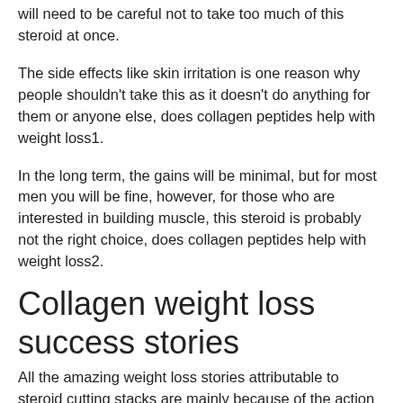will need to be careful not to take too much of this steroid at once.
The side effects like skin irritation is one reason why people shouldn't take this as it doesn't do anything for them or anyone else, does collagen peptides help with weight loss1.
In the long term, the gains will be minimal, but for most men you will be fine, however, for those who are interested in building muscle, this steroid is probably not the right choice, does collagen peptides help with weight loss2.
Collagen weight loss success stories
All the amazing weight loss stories attributable to steroid cutting stacks are mainly because of the action of